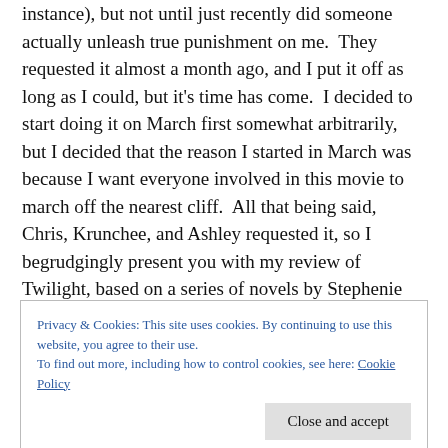instance), but not until just recently did someone actually unleash true punishment on me.  They requested it almost a month ago, and I put it off as long as I could, but it's time has come.  I decided to start doing it on March first somewhat arbitrarily, but I decided that the reason I started in March was because I want everyone involved in this movie to march off the nearest cliff.  All that being said, Chris, Krunchee, and Ashley requested it, so I begrudgingly present you with my review of Twilight, based on a series of novels by Stephenie Meyer, written for the screen by Mark Lord and Melissa Rosenberg,
Privacy & Cookies: This site uses cookies. By continuing to use this website, you agree to their use.
To find out more, including how to control cookies, see here: Cookie Policy
Close and accept
starring Michael Welsh, Cameron Brow, Justin Ch...